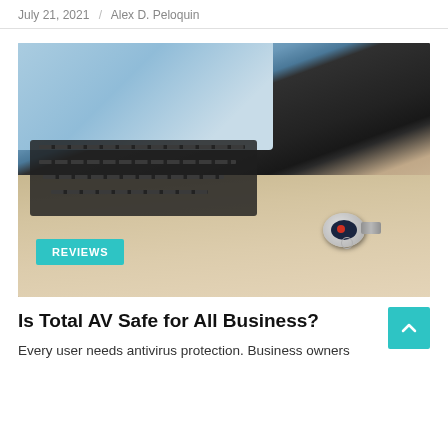July 21, 2021 / Alex D. Peloquin
[Figure (photo): Close-up photo of a laptop computer with a USB security key/dongle resting on the keyboard area. A cyan 'REVIEWS' badge is overlaid in the lower-left corner of the image.]
Is Total AV Safe for All Business?
Every user needs antivirus protection. Business owners